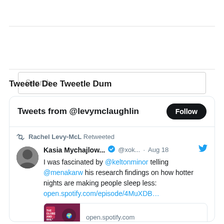[Figure (screenshot): Search box with placeholder text 'Search']
Tweetle Dee Tweetle Dum
[Figure (screenshot): Twitter widget showing tweets from @levymclaughlin with a Follow button. Contains a retweet by Rachel Levy-McL of Kasia Mychajlow... (@xok...) from Aug 18, with text about fascination with @keltonminor telling @menakarw his research findings on how hotter nights are making people sleep less, with a Spotify link.]